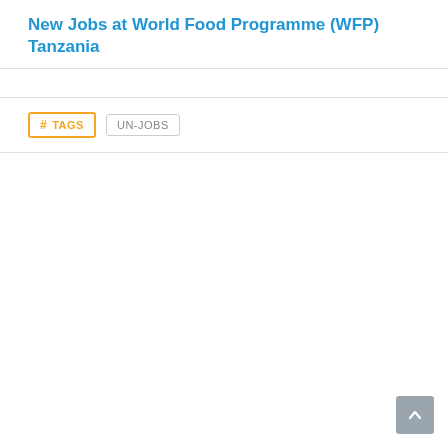New Jobs at World Food Programme (WFP) Tanzania
# TAGS   UN-JOBS